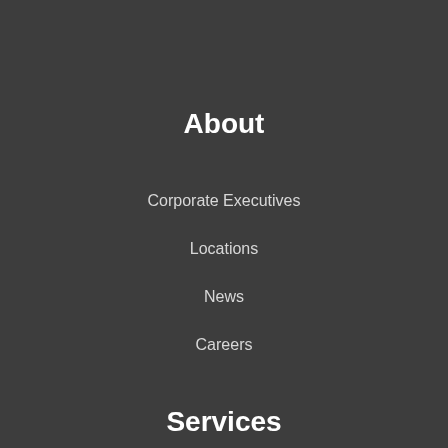About
Corporate Executives
Locations
News
Careers
Services
Cable Management Services
Emergency Services
Value Added Cable Services
Customer Service
Contact Us